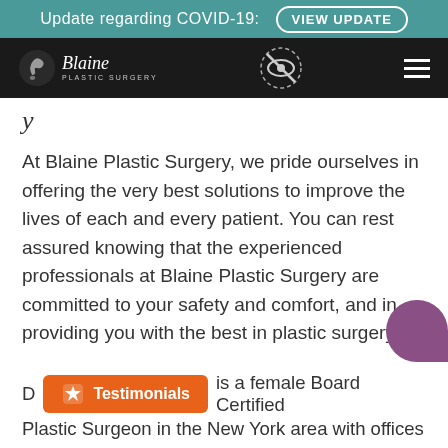Update regarding COVID-19: VIEW UPDATE
[Figure (logo): Blaine Plastic Surgery logo with navigation bar on dark background, including accessibility icon and hamburger menu]
y
At Blaine Plastic Surgery, we pride ourselves in offering the very best solutions to improve the lives of each and every patient. You can rest assured knowing that the experienced professionals at Blaine Plastic Surgery are committed to your safety and comfort, and in providing you with the best in plastic surgery.
D is a female Board Certified Plastic Surgeon in the New York area with offices